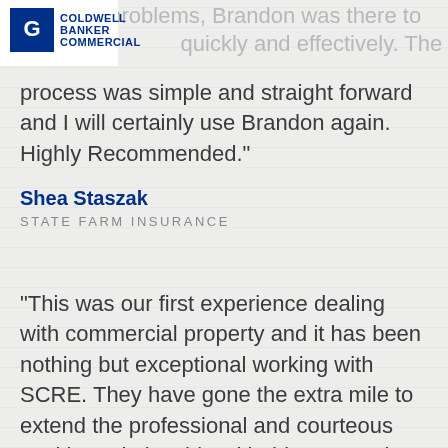Coldwell Banker Commercial
potential problems, Brandon was there to quickly and effectively. The process was simple and straight forward and I will certainly use Brandon again. Highly Recommended."
Shea Staszak
STATE FARM INSURANCE
"This was our first experience dealing with commercial property and it has been nothing but exceptional working with SCRE. They have gone the extra mile to extend the professional and courteous working relationship with this transaction from beginning to end. We at First Rate Office